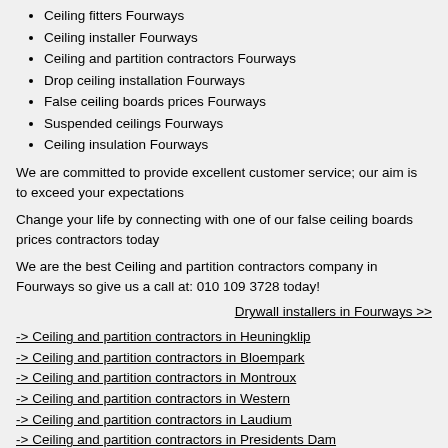Ceiling fitters Fourways
Ceiling installer Fourways
Ceiling and partition contractors Fourways
Drop ceiling installation Fourways
False ceiling boards prices Fourways
Suspended ceilings Fourways
Ceiling insulation Fourways
We are committed to provide excellent customer service; our aim is to exceed your expectations
Change your life by connecting with one of our false ceiling boards prices contractors today
We are the best Ceiling and partition contractors company in Fourways so give us a call at: 010 109 3728 today!
Drywall installers in Fourways >>
-> Ceiling and partition contractors in Heuningklip
-> Ceiling and partition contractors in Bloempark
-> Ceiling and partition contractors in Montroux
-> Ceiling and partition contractors in Western
-> Ceiling and partition contractors in Laudium
-> Ceiling and partition contractors in Presidents Dam
-> Ceiling and partition contractors in Lumier